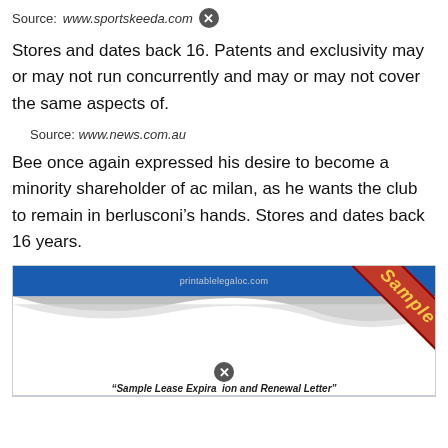Source: www.sportskeeda.com
Stores and dates back 16. Patents and exclusivity may or may not run concurrently and may or may not cover the same aspects of.
Source: www.news.com.au
Bee once again expressed his desire to become a minority shareholder of ac milan, as he wants the club to remain in berlusconi’s hands. Stores and dates back 16 years.
[Figure (screenshot): Screenshot of a printablelegaloc.com document page with blue banner, silver wave graphic, red 'Sample' ribbon in top-right corner, a close icon, and partial caption text reading '“Sample Lease Expiration and Renewal Letter”']